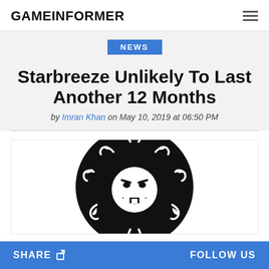GAMEINFORMER
NEWS
Starbreeze Unlikely To Last Another 12 Months
by Imran Khan on May 10, 2019 at 06:50 PM
[Figure (logo): Starbreeze logo: black circle with a sun-like face character with wavy rays, grinning expression, white outlines on black background]
SHARE   FOLLOW US